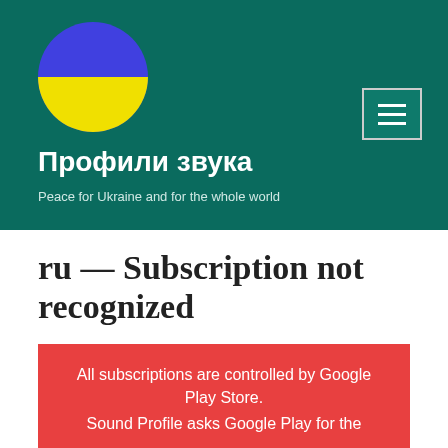[Figure (logo): Circular logo split into blue top half and yellow bottom half, representing Ukrainian flag colors]
Профили звука
Peace for Ukraine and for the whole world
ru — Subscription not recognized
All subscriptions are controlled by Google Play Store.
Sound Profile asks Google Play for the